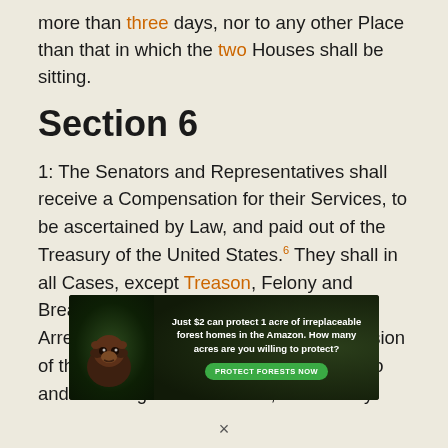more than three days, nor to any other Place than that in which the two Houses shall be sitting.
Section 6
1: The Senators and Representatives shall receive a Compensation for their Services, to be ascertained by Law, and paid out of the Treasury of the United States.6 They shall in all Cases, except Treason, Felony and Breach of the Peace, be privileged from Arrest during their Attendance at the Session of their respective Houses, and in going to and returning from the same; and for any
[Figure (infographic): Advertisement banner: forest conservation ad. Text reads 'Just $2 can protect 1 acre of irreplaceable forest homes in the Amazon. How many acres are you willing to protect?' with a green 'PROTECT FORESTS NOW' button and an image of an orangutan in a dark forest background.]
×